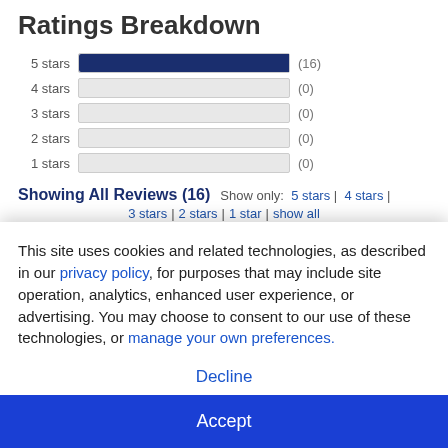Ratings Breakdown
[Figure (bar-chart): Ratings Breakdown]
Showing All Reviews (16)
Show only: 5 stars | 4 stars | 3 stars | 2 stars | 1 star | show all
2021
This site uses cookies and related technologies, as described in our privacy policy, for purposes that may include site operation, analytics, enhanced user experience, or advertising. You may choose to consent to our use of these technologies, or manage your own preferences.
Decline
Accept